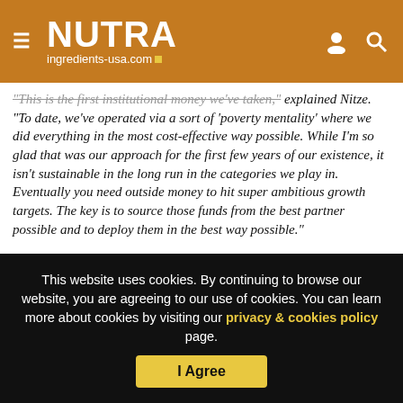NUTRA ingredients-usa.com
"This is the first institutional money we've taken," explained Nitze. "To date, we've operated via a sort of 'poverty mentality' where we did everything in the most cost-effective way possible. While I'm so glad that was our approach for the first few years of our existence, it isn't sustainable in the long run in the categories we play in. Eventually you need outside money to hit super ambitious growth targets. The key is to source those funds from the best partner possible and to deploy them in the best way possible."
This website uses cookies. By continuing to browse our website, you are agreeing to our use of cookies. You can learn more about cookies by visiting our privacy & cookies policy page.
I Agree